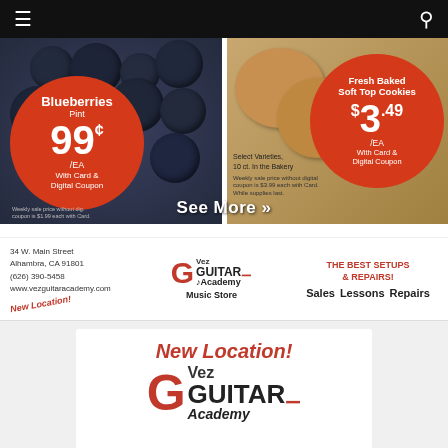Navigation bar with menu and search icons
[Figure (photo): Grocery store promotional banner showing blueberries at 99¢/EA and Fresh Baked Soft Top Cookies at $3.49/EA with card and digital coupon]
See More »
[Figure (logo): Vez Guitar Academy Music Store logo with contact info: 34 W. Main Street, Alhambra, CA 91801, (626) 390-5458, www.vezguitaracademy.com. New Location! stamp. Services: Sales, Lessons, Repairs. THE BEST SETUPS & REPAIRS!]
[Figure (logo): White card on gray background showing New Location! heading and Vez Guitar Academy large logo]